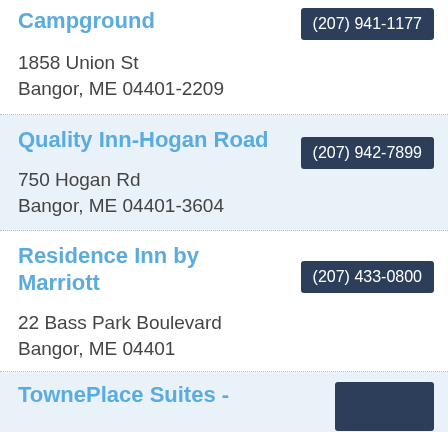Campground
1858 Union St
Bangor, ME 04401-2209
Quality Inn-Hogan Road
750 Hogan Rd
Bangor, ME 04401-3604
Residence Inn by Marriott
22 Bass Park Boulevard
Bangor, ME 04401
TownePlace Suites -